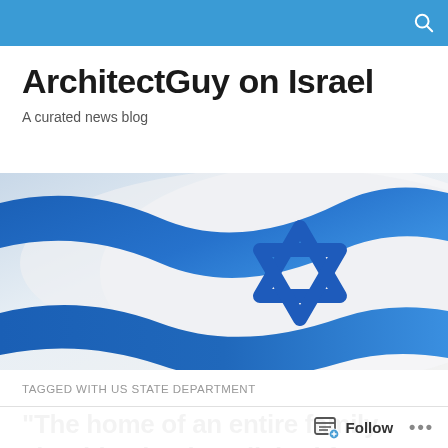ArchitectGuy on Israel — navigation bar with search icon
ArchitectGuy on Israel
A curated news blog
[Figure (photo): Israeli flag waving — blue and white flag with Star of David, dramatic flowing fabric on light background]
TAGGED WITH US STATE DEPARTMENT
“The home of an entire family shouldn’t be demolished for the action of one individ…
Follow …